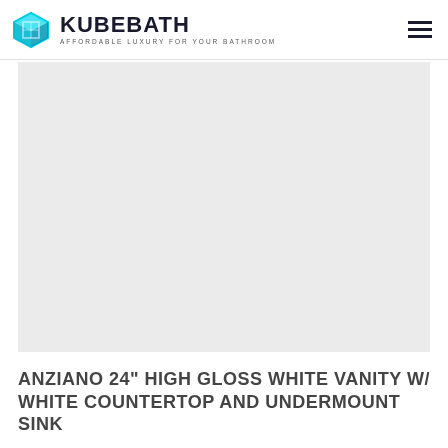KUBEBATH — AFFORDABLE LUXURY FOR YOUR BATHROOM
[Figure (photo): Light gray rectangular product image placeholder area showing a bathroom vanity product (image not visible, gray background only)]
ANZIANO 24" HIGH GLOSS WHITE VANITY W/ WHITE COUNTERTOP AND UNDERMOUNT SINK